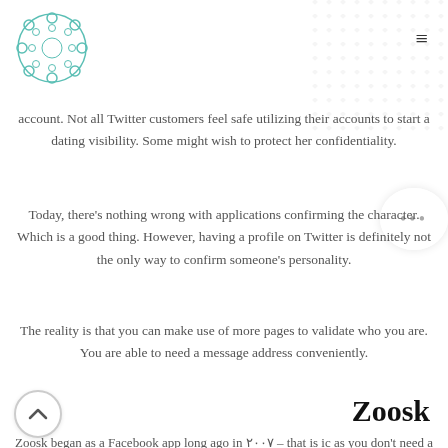account. Not all Twitter customers feel safe utilizing their accounts to start a dating visibility. Some might wish to protect her confidentiality.
Today, there's nothing wrong with applications confirming the character. Which is a good thing. However, having a profile on Twitter is definitely not the only way to confirm someone's personality.
The reality is that you can make use of more pages to validate who you are. You are able to need a message address conveniently.
Zoosk
Zoosk began as a Facebook app long ago in ۲۰۰۷ – that is ic as you don't need a Facebook account in order to meet group on Zoosk.